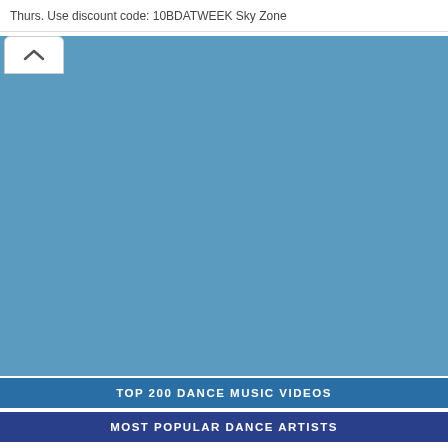Thurs. Use discount code: 10BDATWEEK Sky Zone
[Figure (screenshot): Blue rectangular area representing a collapsed or loading content panel with a white collapse/chevron button at top left]
TOP 200 DANCE MUSIC VIDEOS
MOST POPULAR DANCE ARTISTS
1  David Guetta